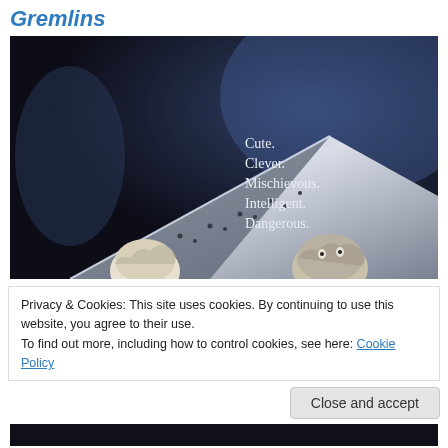Gremlins
[Figure (photo): Gremlins movie poster showing two Gremlin creatures peeking over a dark triangular surface with text: Cute. Clever. Mischievous. Intelligent. Dangerous.]
Privacy & Cookies: This site uses cookies. By continuing to use this website, you agree to their use.
To find out more, including how to control cookies, see here: Cookie Policy
Close and accept